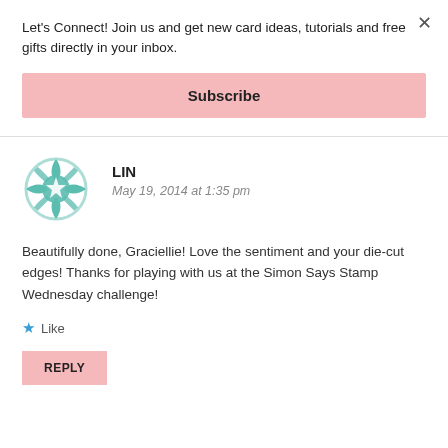Let's Connect! Join us and get new card ideas, tutorials and free gifts directly in your inbox.
Subscribe
LIN
May 19, 2014 at 1:35 pm
Beautifully done, Graciellie! Love the sentiment and your die-cut edges! Thanks for playing with us at the Simon Says Stamp Wednesday challenge!
Like
REPLY